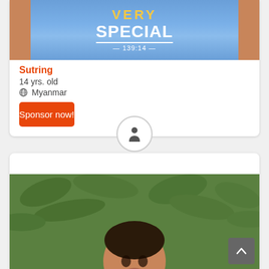[Figure (photo): Photo of child holding a sign that reads 'VERY SPECIAL' with arms visible on sides, blue background]
Sutring
14 yrs. old
Myanmar
Sponsor now!
[Figure (illustration): Person/human icon in a circle border]
[Figure (photo): Photo of a young boy with short dark hair in front of green leafy background]